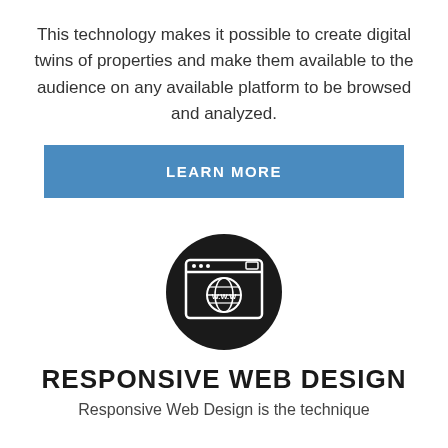This technology makes it possible to create digital twins of properties and make them available to the audience on any available platform to be browsed and analyzed.
LEARN MORE
[Figure (illustration): Dark circular icon with a browser window showing a globe and the text W.W.W inside]
RESPONSIVE WEB DESIGN
Responsive Web Design is the technique